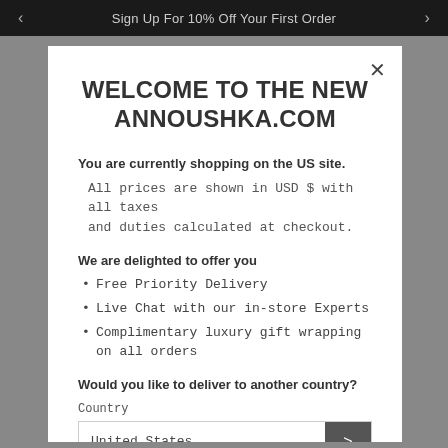Sign Up For 10% Off Your First Order
WELCOME TO THE NEW ANNOUSHKA.COM
You are currently shopping on the US site.
All prices are shown in USD $ with all taxes and duties calculated at checkout.
We are delighted to offer you
Free Priority Delivery
Live Chat with our in-store Experts
Complimentary luxury gift wrapping on all orders
Would you like to deliver to another country?
Country
United States